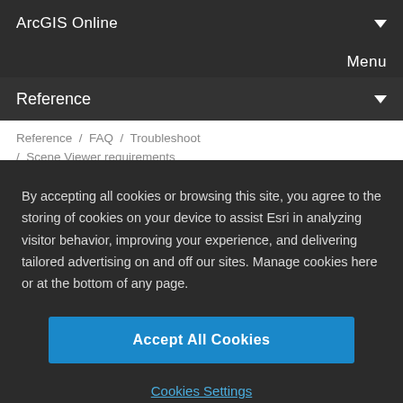ArcGIS Online
Menu
Reference
Reference / FAQ / Troubleshoot / Scene Viewer requirements
2  Click the Use hardware acceleration when
By accepting all cookies or browsing this site, you agree to the storing of cookies on your device to assist Esri in analyzing visitor behavior, improving your experience, and delivering tailored advertising on and off our sites. Manage cookies here or at the bottom of any page.
Accept All Cookies
Cookies Settings